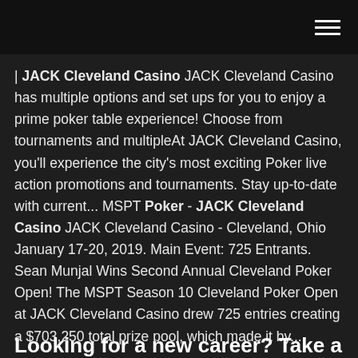| JACK Cleveland Casino JACK Cleveland Casino has multiple options and set ups for you to enjoy a prime poker table experience! Choose from tournaments and multipleAt JACK Cleveland Casino, you'll experience the city's most exciting Poker live action promotions and tournaments. Stay up-to-date with current... MSPT Poker - JACK Cleveland Casino JACK Cleveland Casino - Cleveland, Ohio January 17-20, 2019. Main Event: 725 Entrants. Sean Munjal Wins Second Annual Cleveland Poker Open! The MSPT Season 10 Cleveland Poker Open at JACK Cleveland Casino drew 725 entries creating a $703,250 total prize pool, which made it by...
Looking for a new career? Take a